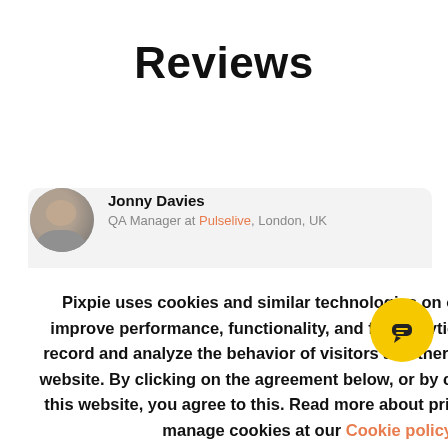Reviews
Jonny Davies
QA Manager at Pulselive, London, UK
Pixpie uses cookies and similar technologies on our website to improve performance, functionality, and for analytics. We can also record and analyze the behavior of visitors and thereby improve our website. By clicking on the agreement below, or by continuing to use this website, you agree to this. Read more about privacy, opt out, or manage cookies at our Cookie policy.
I ACCEPT